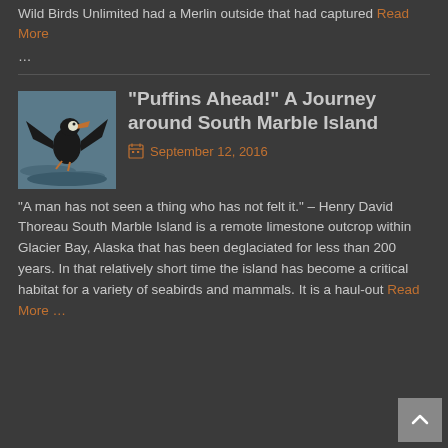Wild Birds Unlimited had a Merlin outside that had captured Read More …
[Figure (photo): A puffin bird on water, wings spread, dark background]
“Puffins Ahead!” A Journey around South Marble Island
September 12, 2016
“A man has not seen a thing who has not felt it.” – Henry David Thoreau South Marble Island is a remote limestone outcrop within Glacier Bay, Alaska that has been deglaciated for less than 200 years.  In that relatively short time the island has become a critical habitat for a variety of seabirds and mammals.  It is a haul-out Read More …